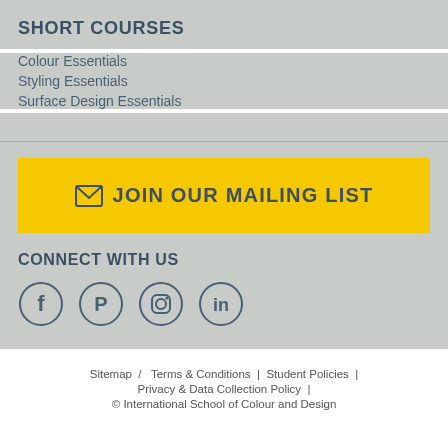SHORT COURSES
Colour Essentials
Styling Essentials
Surface Design Essentials
✉ JOIN OUR MAILING LIST
CONNECT WITH US
[Figure (illustration): Four social media icons in circles: Facebook, Pinterest, Instagram, LinkedIn]
Sitemap / Terms & Conditions | Student Policies | Privacy & Data Collection Policy | © International School of Colour and Design